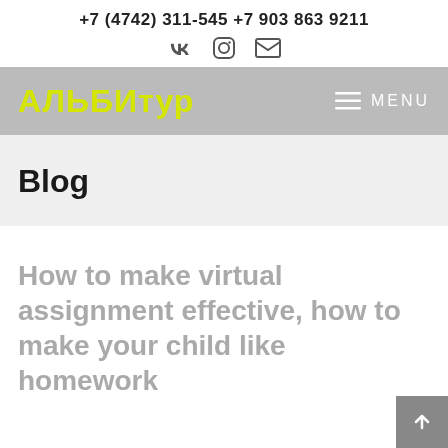+7 (4742) 311-545 +7 903 863 9211
[Figure (logo): АЛьБИтур logo with yellow text on grey navigation bar, with hamburger menu and MENU text on the right]
Blog
How to make virtual assignment effective, how to make your child like homework